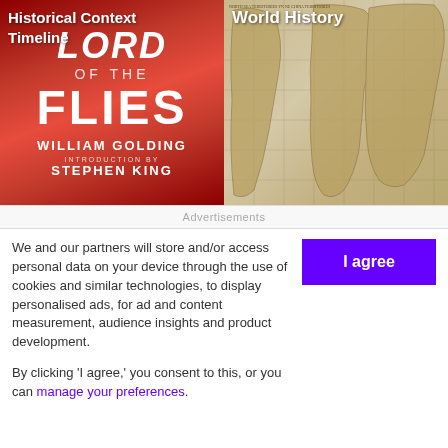[Figure (photo): Book cover of 'Lord of the Flies' by William Golding with Introduction by Stephen King, red background with white text]
Historical Context Timeline
[Figure (photo): Old antique world map with tan/sepia tones and grid lines]
World History
Advertisements
We and our partners will store and/or access personal data on your device through the use of cookies and similar technologies, to display personalised ads, for ad and content measurement, audience insights and product development.

By clicking 'I agree,' you consent to this, or you can manage your preferences.